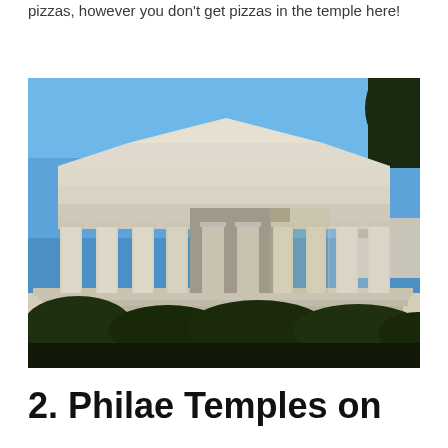pizzas, however you don't get pizzas in the temple here!
[Figure (photo): Photograph of an ancient Greek temple with Doric columns, white marble construction, blue sky background, and green shrubbery in the foreground.]
2. Philae Temples on